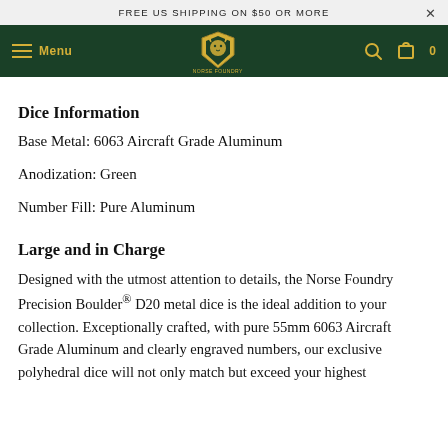FREE US SHIPPING ON $50 OR MORE
[Figure (screenshot): Norse Foundry navigation bar with dark green background, hamburger menu icon with 'Menu' text in gold, Norse Foundry logo (crest) centered, search and cart icons in gold on the right]
Dice Information
Base Metal: 6063 Aircraft Grade Aluminum
Anodization: Green
Number Fill: Pure Aluminum
Large and in Charge
Designed with the utmost attention to details, the Norse Foundry Precision Boulder® D20 metal dice is the ideal addition to your collection. Exceptionally crafted, with pure 55mm 6063 Aircraft Grade Aluminum and clearly engraved numbers, our exclusive polyhedral dice will not only match but exceed your highest